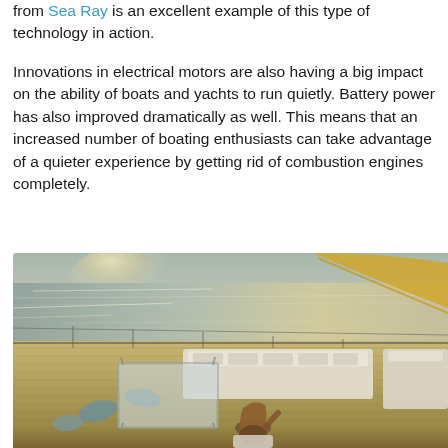from Sea Ray is an excellent example of this type of technology in action.
Innovations in electrical motors are also having a big impact on the ability of boats and yachts to run quietly. Battery power has also improved dramatically as well. This means that an increased number of boating enthusiasts can take advantage of a quieter experience by getting rid of combustion engines completely.
[Figure (photo): A luxury yacht deck viewed from above at sunset/golden hour, showing white cushioned outdoor furniture including sofas, chairs, and a glass coffee table on a wooden deck. A woman with long hair sits in a chair facing the sea. The ocean and horizon are visible in the background with warm golden light.]